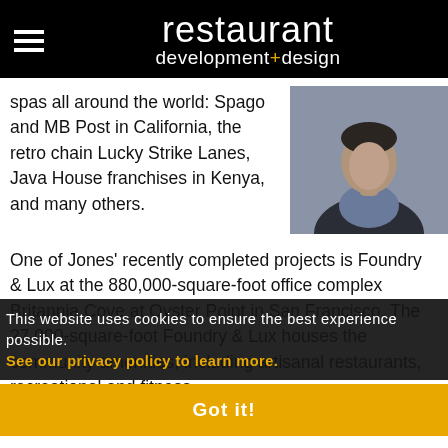restaurant development+design
spas all around the world: Spago and MB Post in California, the retro chain Lucky Strike Lanes, Java House franchises in Kenya, and many others.
[Figure (photo): Photo of a person in a dark blazer and blue shirt, cropped to upper body and face area.]
One of Jones' recently completed projects is Foundry & Lux at the 880,000-square-foot office complex Britannia Cove at Oyster Point in San Francisco. The 27,000-square-foot Foundry & Lux houses the community amenities, including artisanal restaurants, recreational and fitness
This website uses cookies to ensure the best experience possible. See our privacy policy to learn more.
Got it!